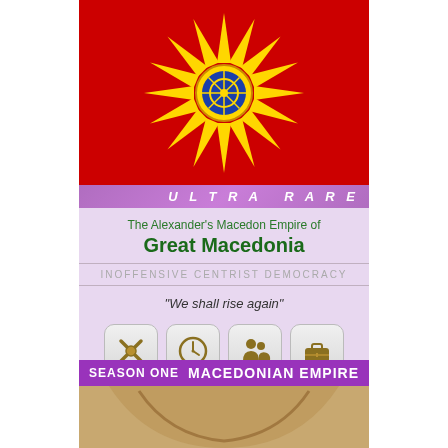[Figure (illustration): Flag of Macedonia - red background with yellow Vergina Sun radiating 8 ray pairs, blue circle at center with yellow wheel pattern]
ULTRA RARE
The Alexander's Macedon Empire of
Great Macedonia
INOFFENSIVE CENTRIST DEMOCRACY
“We shall rise again”
[Figure (illustration): Four icons: pickaxe/tools, clock, people/family, briefcase]
33.234 billion Great Macedonians. Compulsory military service, state-planned economy, and punitive income tax rates.
SEASON ONE    MACEDONIAN EMPIRE